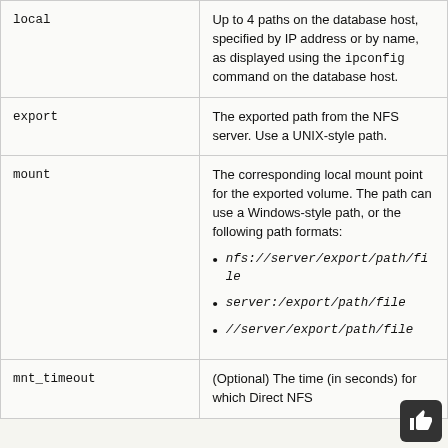| Parameter | Description |
| --- | --- |
| local | Up to 4 paths on the database host, specified by IP address or by name, as displayed using the ipconfig command on the database host. |
| export | The exported path from the NFS server. Use a UNIX-style path. |
| mount | The corresponding local mount point for the exported volume. The path can use a Windows-style path, or the following path formats:
• nfs://server/export/path/file
• server:/export/path/file
• //server/export/path/file |
| mnt_timeout | (Optional) The time (in seconds) for which Direct NFS |